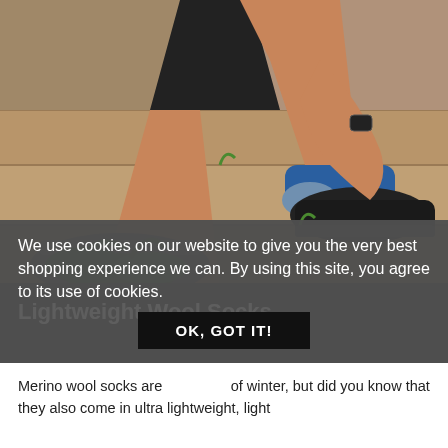[Figure (photo): Person sitting on stone steps outdoors, putting on or adjusting a blue wool hiking sock and black shoe. A second shoe is visible on the left. Green plants are visible at the bottom left. Rocky stone steps form the background.]
We use cookies on our website to give you the very best shopping experience we can. By using this site, you agree to its use of cookies.
OK, GOT IT!
Lightweight Wool Socks
Merino wool socks are of winter, but did you know that they also come in ultra lightweight, light